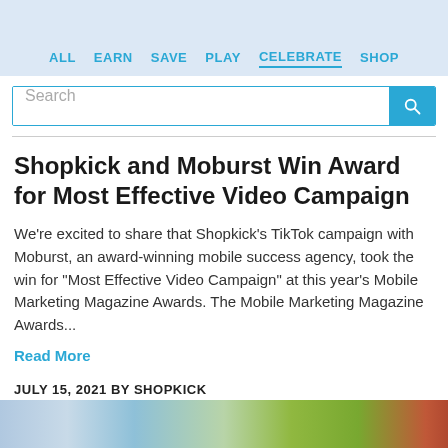ALL  EARN  SAVE  PLAY  CELEBRATE  SHOP
Search
Shopkick and Moburst Win Award for Most Effective Video Campaign
We're excited to share that Shopkick's TikTok campaign with Moburst, an award-winning mobile success agency, took the win for "Most Effective Video Campaign" at this year's Mobile Marketing Magazine Awards. The Mobile Marketing Magazine Awards...
Read More
JULY 15, 2021 BY SHOPKICK
[Figure (photo): Bottom strip showing colorful food images partially visible at the bottom of the page]